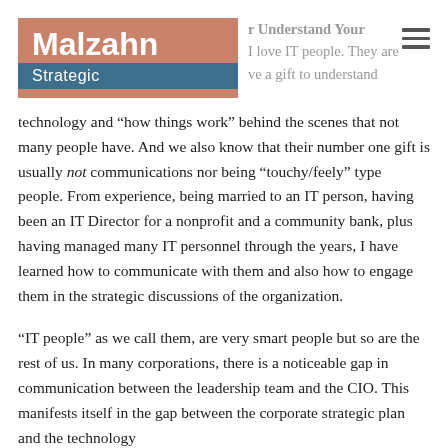[Figure (logo): Malzahn Strategic logo — brown/terracotta rectangle with 'Malzahn' in white bold text and a blue bar beneath with 'Strategic' in white]
r Understand Your I love IT people. They are ve a gift to understand
technology and “how things work” behind the scenes that not many people have. And we also know that their number one gift is usually not communications nor being “touchy/feely” type people. From experience, being married to an IT person, having been an IT Director for a nonprofit and a community bank, plus having managed many IT personnel through the years, I have learned how to communicate with them and also how to engage them in the strategic discussions of the organization.
“IT people” as we call them, are very smart people but so are the rest of us. In many corporations, there is a noticeable gap in communication between the leadership team and the CIO. This manifests itself in the gap between the corporate strategic plan and the technology